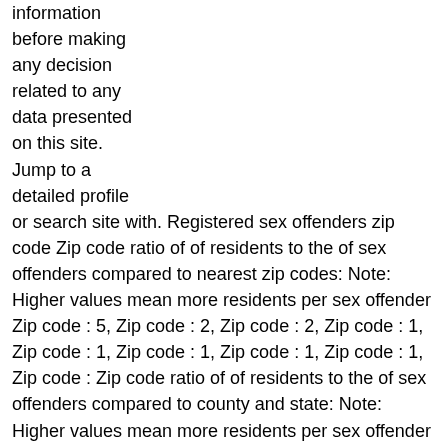information before making any decision related to any data presented on this site. Jump to a detailed profile or search site with. Registered sex offenders zip code Zip code ratio of of residents to the of sex offenders compared to nearest zip codes: Note: Higher values mean more residents per sex offender Zip code : 5, Zip code : 2, Zip code : 2, Zip code : 1, Zip code : 1, Zip code : 1, Zip code : 1, Zip code : 1, Zip code : Zip code ratio of of residents to the of sex offenders compared to county and state: Note: Higher values mean more residents per sex offender Ocean County: 1, New Jersey: 1, Zip code : 1, Race: White Based on this official offender.